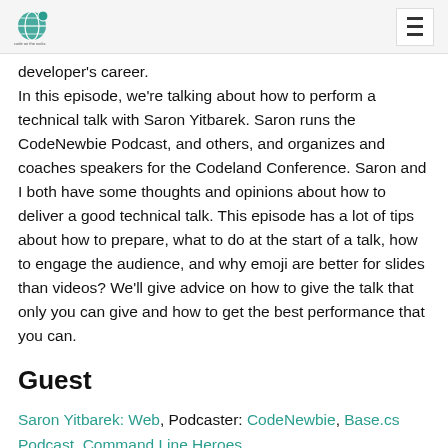[Logo] [Hamburger menu]
developer's career.
In this episode, we're talking about how to perform a technical talk with Saron Yitbarek. Saron runs the CodeNewbie Podcast, and others, and organizes and coaches speakers for the Codeland Conference. Saron and I both have some thoughts and opinions about how to deliver a good technical talk. This episode has a lot of tips about how to prepare, what to do at the start of a talk, how to engage the audience, and why emoji are better for slides than videos? We'll give advice on how to give the talk that only you can give and how to get the best performance that you can.
Guest
Saron Yitbarek: Web, Podcaster: CodeNewbie, Base.cs Podcast, Command Line Heroes.